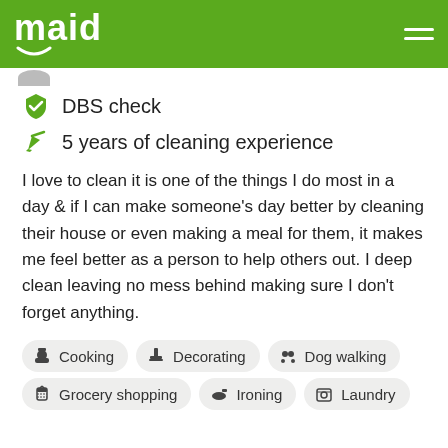maid
DBS check
5 years of cleaning experience
I love to clean it is one of the things I do most in a day & if I can make someone's day better by cleaning their house or even making a meal for them, it makes me feel better as a person to help others out. I deep clean leaving no mess behind making sure I don't forget anything.
Cooking
Decorating
Dog walking
Grocery shopping
Ironing
Laundry